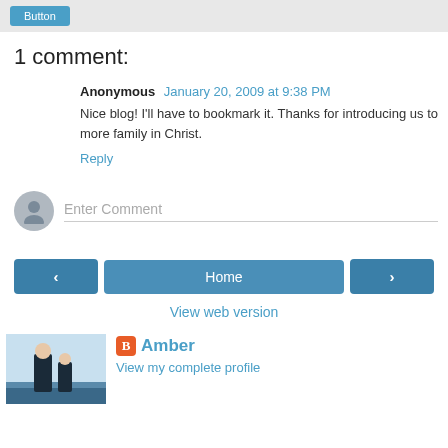[Figure (screenshot): Top navigation bar with a blue button]
1 comment:
Anonymous January 20, 2009 at 9:38 PM
Nice blog! I'll have to bookmark it. Thanks for introducing us to more family in Christ.
Reply
[Figure (screenshot): Enter Comment input field with avatar]
Home
View web version
Amber
View my complete profile
[Figure (photo): Profile photo of a couple near water]